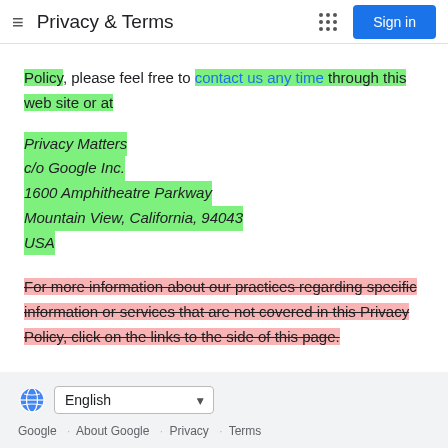Privacy & Terms
Policy, please feel free to contact us any time through this web site or at
Privacy Matters
c/o Google Inc.
1600 Amphitheatre Parkway
Mountain View, California, 94043
USA
For more information about our practices regarding specific information or services that are not covered in this Privacy Policy, click on the links to the side of this page.
English  Google · About Google · Privacy · Terms